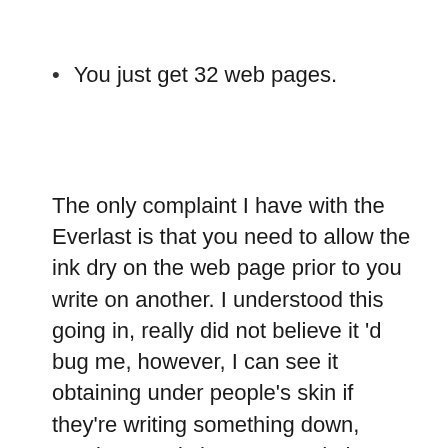You just get 32 web pages.
The only complaint I have with the Everlast is that you need to allow the ink dry on the web page prior to you write on another. I understood this going in, really did not believe it 'd bug me, however, I can see it obtaining under people's skin if they're writing something down, require to switch pages, and also have to wait the advised 15 secs before continuing your train of thought (you do not have to wait that lengthy). I've